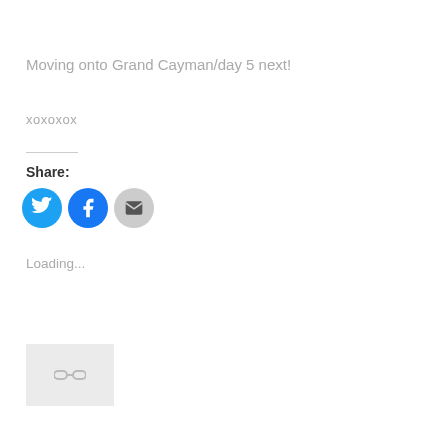Moving onto Grand Cayman/day 5 next!
xoxoxox
Share:
[Figure (infographic): Three social share buttons: Twitter (blue circle with bird icon), Facebook (blue circle with f icon), Email (light gray circle with envelope icon)]
Loading...
[Figure (other): A small gray thumbnail placeholder box with a chain link / broken link icon in the center]